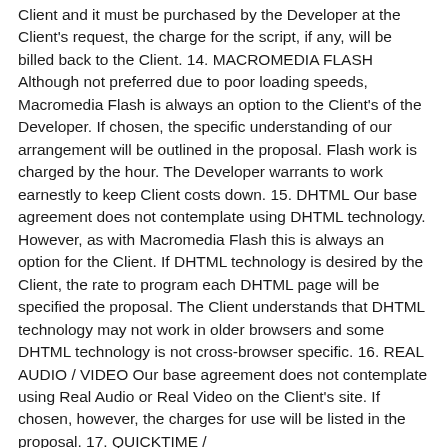Client and it must be purchased by the Developer at the Client's request, the charge for the script, if any, will be billed back to the Client. 14. MACROMEDIA FLASH Although not preferred due to poor loading speeds, Macromedia Flash is always an option to the Client's of the Developer. If chosen, the specific understanding of our arrangement will be outlined in the proposal. Flash work is charged by the hour. The Developer warrants to work earnestly to keep Client costs down. 15. DHTML Our base agreement does not contemplate using DHTML technology. However, as with Macromedia Flash this is always an option for the Client. If DHTML technology is desired by the Client, the rate to program each DHTML page will be specified the proposal. The Client understands that DHTML technology may not work in older browsers and some DHTML technology is not cross-browser specific. 16. REAL AUDIO / VIDEO Our base agreement does not contemplate using Real Audio or Real Video on the Client's site. If chosen, however, the charges for use will be listed in the proposal. 17. QUICKTIME /